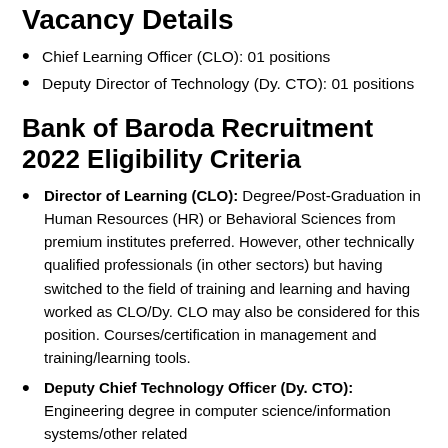Vacancy Details
Chief Learning Officer (CLO): 01 positions
Deputy Director of Technology (Dy. CTO): 01 positions
Bank of Baroda Recruitment 2022 Eligibility Criteria
Director of Learning (CLO): Degree/Post-Graduation in Human Resources (HR) or Behavioral Sciences from premium institutes preferred. However, other technically qualified professionals (in other sectors) but having switched to the field of training and learning and having worked as CLO/Dy. CLO may also be considered for this position. Courses/certification in management and training/learning tools.
Deputy Chief Technology Officer (Dy. CTO): Engineering degree in computer science/information systems/other related